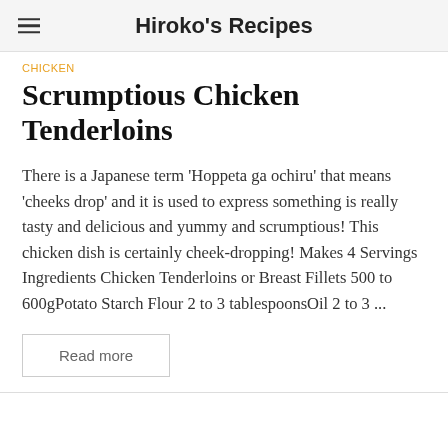Hiroko's Recipes
Chicken
Scrumptious Chicken Tenderloins
There is a Japanese term 'Hoppeta ga ochiru' that means 'cheeks drop' and it is used to express something is really tasty and delicious and yummy and scrumptious! This chicken dish is certainly cheek-dropping! Makes 4 Servings Ingredients Chicken Tenderloins or Breast Fillets 500 to 600gPotato Starch Flour 2 to 3 tablespoonsOil 2 to 3 ...
Read more